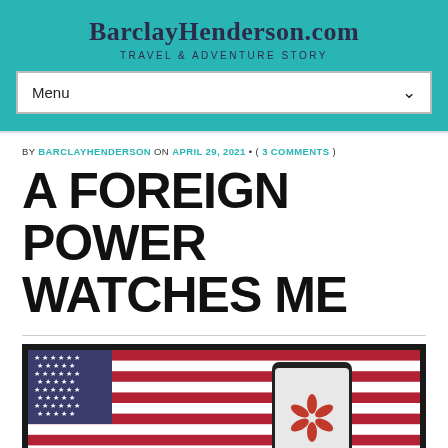BarclayHenderson.com — TRAVEL & ADVENTURE STORY
Menu
BY BARCLAYHENDERSON ON APRIL 29, 2021 • ( 3 COMMENTS )
A FOREIGN POWER WATCHES ME
[Figure (photo): A Huawei smartphone displayed in front of an American flag, with the Huawei logo visible on the phone screen. The image is framed with a dark border.]